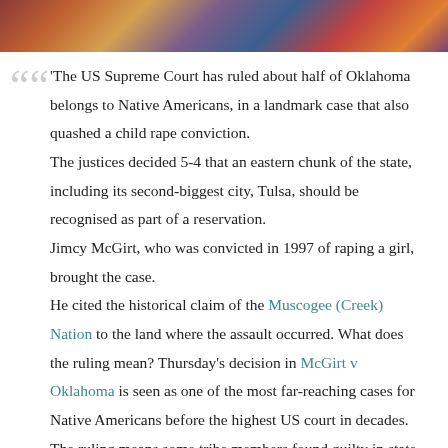[Figure (photo): Cropped photo strip showing people in colorful traditional Native American clothing/textiles]
'The US Supreme Court has ruled about half of Oklahoma belongs to Native Americans, in a landmark case that also quashed a child rape conviction. The justices decided 5-4 that an eastern chunk of the state, including its second-biggest city, Tulsa, should be recognised as part of a reservation. Jimcy McGirt, who was convicted in 1997 of raping a girl, brought the case. He cited the historical claim of the Muscogee (Creek) Nation to the land where the assault occurred. What does the ruling mean? Thursday's decision in McGirt v Oklahoma is seen as one of the most far-reaching cases for Native Americans before the highest US court in decades. The ruling means some tribe members found guilty in state courts for offences